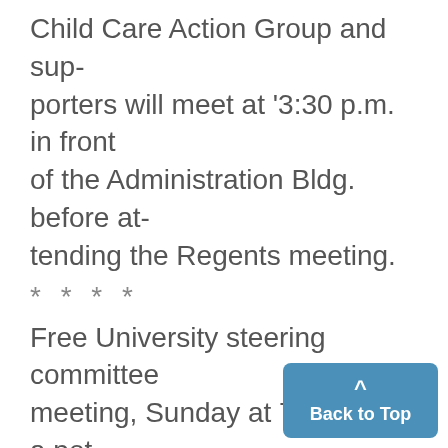Child Care Action Group and supporters will meet at '3:30 p.m. in front of the Administration Bldg. before attending the Regents meeting.
* * * *
Free University steering committee meeting, Sunday at 7 p.m. for a pot luck dinner at 1309 Washtenaw, Apt. No. 3,
* * * *
Christian science organization, Oct. 15, 7:30 p.m., 3545 SAB. Regular meeting: all are welcome.
Important A.F.S. Club meetinig,